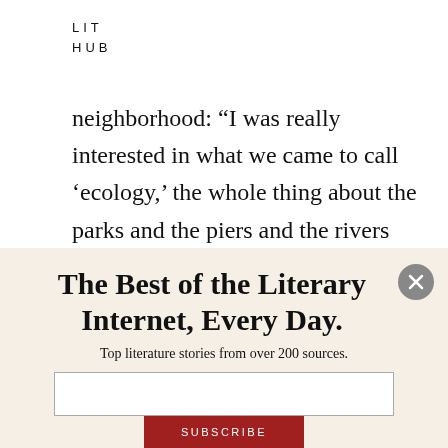LIT
HUB
neighborhood: “I was really interested in what we came to call ‘ecology,’ the whole thing about the parks and the piers and the rivers and the land that was New York, that was Manhattan, that was the
The Best of the Literary Internet, Every Day.
Top literature stories from over 200 sources.